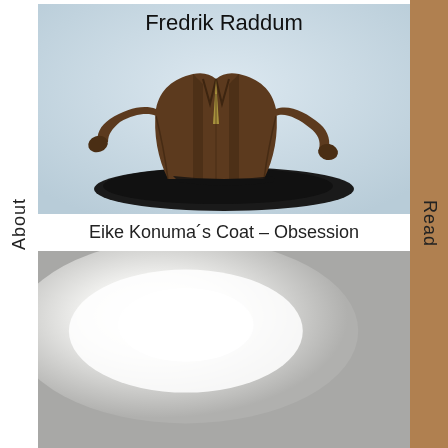About
Read
Fredrik Raddum
[Figure (photo): A sculptural artwork: a headless torso wearing a brown suit jacket, arms outstretched, the figure appears to be sinking or melting into a dark puddle/base. The background is pale blue-grey.]
Eike Konuma´s Coat – Obsession
[Figure (photo): A partially visible image showing a white/bright glowing light source or illuminated surface against a light grey background, cropped at the bottom of the page.]